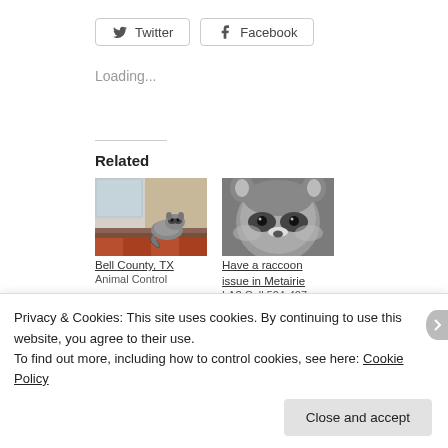[Figure (other): Twitter social share button with bird icon]
[Figure (other): Facebook social share button with f icon]
Loading...
Related
[Figure (photo): Raccoon on a rooftop near a window]
Bell County, TX Animal Control
[Figure (photo): Close-up of a raccoon face]
Have a raccoon issue in Metairie LA? Call 504-407-
Privacy & Cookies: This site uses cookies. By continuing to use this website, you agree to their use.
To find out more, including how to control cookies, see here: Cookie Policy
Close and accept